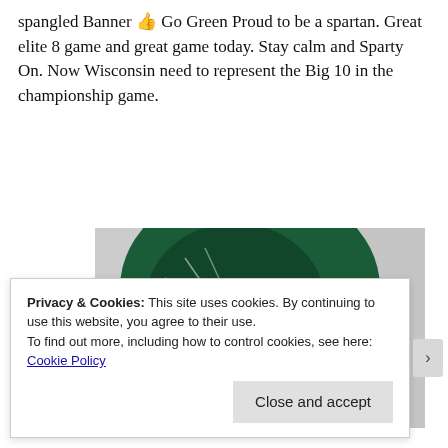spangled Banner 👍 Go Green Proud to be a spartan. Great elite 8 game and great game today. Stay calm and Sparty On. Now Wisconsin need to represent the Big 10 in the championship game.
[Figure (photo): Partial photo showing a person wearing a dark green Michigan State Spartan helmet, grayscale background, indoor setting]
Privacy & Cookies: This site uses cookies. By continuing to use this website, you agree to their use.
To find out more, including how to control cookies, see here:
Cookie Policy